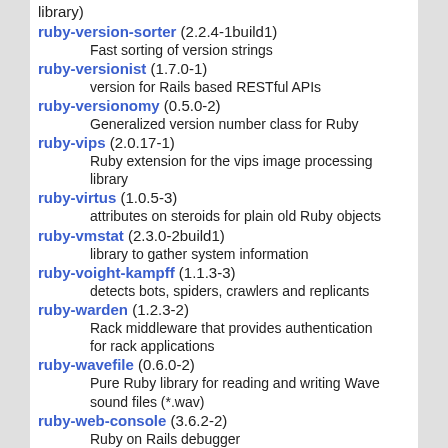library)
ruby-version-sorter (2.2.4-1build1)
    Fast sorting of version strings
ruby-versionist (1.7.0-1)
    version for Rails based RESTful APIs
ruby-versionomy (0.5.0-2)
    Generalized version number class for Ruby
ruby-vips (2.0.17-1)
    Ruby extension for the vips image processing library
ruby-virtus (1.0.5-3)
    attributes on steroids for plain old Ruby objects
ruby-vmstat (2.3.0-2build1)
    library to gather system information
ruby-voight-kampff (1.1.3-3)
    detects bots, spiders, crawlers and replicants
ruby-warden (1.2.3-2)
    Rack middleware that provides authentication for rack applications
ruby-wavefile (0.6.0-2)
    Pure Ruby library for reading and writing Wave sound files (*.wav)
ruby-web-console (3.6.2-2)
    Ruby on Rails debugger
ruby-webfinger (1.0.2-2)
    Ruby WebFinger client library
ruby-webkit2-gtk (3.4.1-2build1)
    WebKitGTK+ bindings for the Ruby language